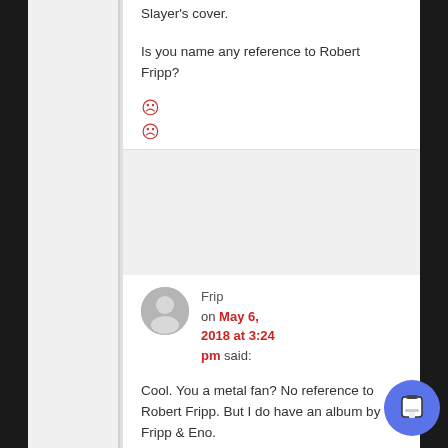Slayer's cover.
Is you name any reference to Robert Fripp?
☹
☹
Frip on May 6, 2018 at 3:24 pm said:
Cool. You a metal fan? No reference to Robert Fripp. But I do have an album by Fripp & Eno.